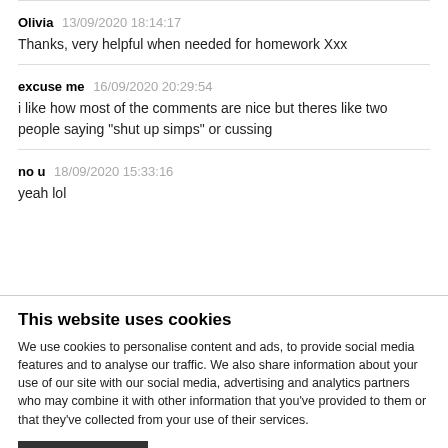Olivia 13/09/2020 18:14:17
Thanks, very helpful when needed for homework Xxx
excuse me 16/09/2020 20:29:54
i like how most of the comments are nice but theres like two people saying "shut up simps" or cussing
no u 18/09/2020 15:33:16
yeah lol
This website uses cookies
We use cookies to personalise content and ads, to provide social media features and to analyse our traffic. We also share information about your use of our site with our social media, advertising and analytics partners who may combine it with other information that you've provided to them or that they've collected from your use of their services.
OK
Show details